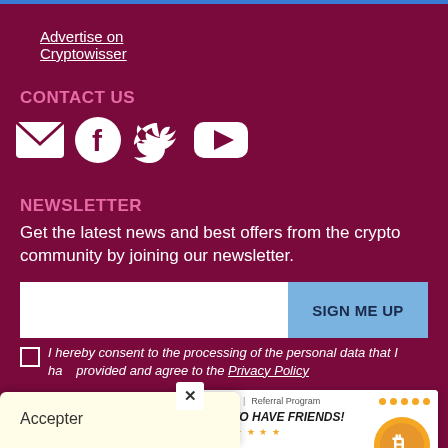Advertise on Cryptowisser
CONTACT US
[Figure (illustration): Social media icons: email (envelope), Facebook, Twitter, YouTube — all white on dark red background]
NEWSLETTER
Get the latest news and best offers from the crypto community by joining our newsletter.
[Figure (screenshot): Newsletter email input field (white) with SIGN ME UP button (blue)]
I hereby consent to the processing of the personal data that I have provided and agree to the Privacy Policy
[Figure (infographic): FMFW.io Referral Program advertisement banner: IT PAYS TO HAVE FRIENDS! Earn 80% of the trading fees. Bitcoin coin graphic.]
Accepter